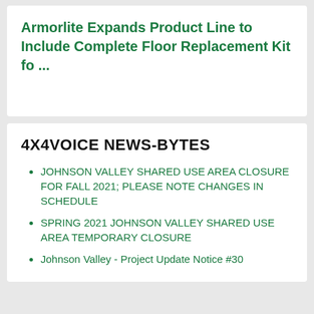Armorlite Expands Product Line to Include Complete Floor Replacement Kit fo ...
4X4VOICE NEWS-BYTES
JOHNSON VALLEY SHARED USE AREA CLOSURE FOR FALL 2021; PLEASE NOTE CHANGES IN SCHEDULE
SPRING 2021 JOHNSON VALLEY SHARED USE AREA TEMPORARY CLOSURE
Johnson Valley - Project Update Notice #30